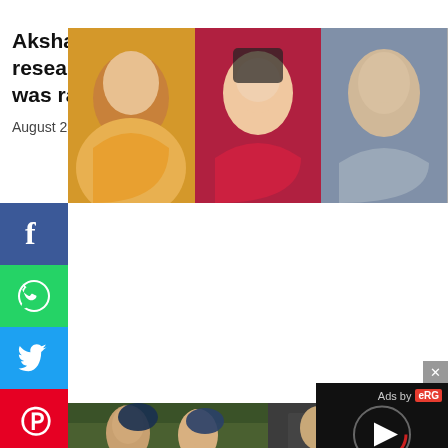[Figure (photo): Three celebrity portrait photos side by side: woman in yellow sweater with wavy hair, woman in red outfit with dramatic makeup, man in grey blazer smiling]
[Figure (infographic): Social media share buttons sidebar: Facebook (blue), WhatsApp (green), Twitter (blue), Pinterest (red)]
Akshay Kumar: Akshay Kumar did research for 'puppet' in a closed room, was raised by real serial killers
August 23, 2022
[Figure (photo): Movie still showing Akshay Kumar and another actor in a turban, outdoors in forest setting]
[Figure (screenshot): Ad overlay with play button, 'Ads by eRG' label on dark background]